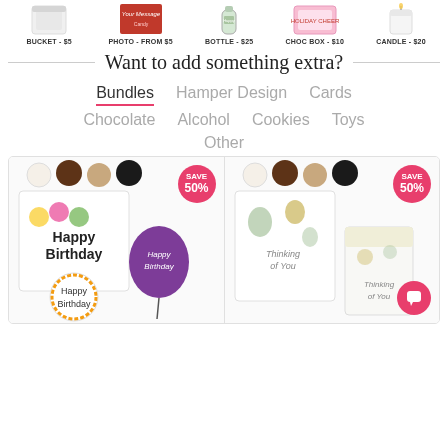[Figure (photo): Row of product thumbnails: BUCKET - $5, PHOTO - FROM $5, BOTTLE - $25, CHOC BOX - $10, CANDLE - $20]
BUCKET - $5 | PHOTO - FROM $5 | BOTTLE - $25 | CHOC BOX - $10 | CANDLE - $20
Want to add something extra?
Bundles | Hamper Design | Cards | Chocolate | Alcohol | Cookies | Toys | Other
[Figure (photo): Two product cards each showing SAVE 50% badge. Left card: Happy Birthday themed bundle with chocolates, birthday card, and purple balloon. Right card: Thinking of You themed bundle with chocolates, card and candle.]